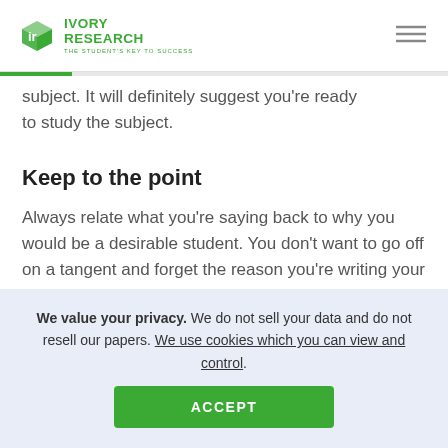[Figure (logo): Ivory Research logo with green cube icon and tagline 'The Student's Key to Success']
subject. It will definitely suggest you're ready to study the subject.
Keep to the point
Always relate what you're saying back to why you would be a desirable student. You don't want to go off on a tangent and forget the reason you're writing your personal statement.
We value your privacy. We do not sell your data and do not resell our papers. We use cookies which you can view and control.